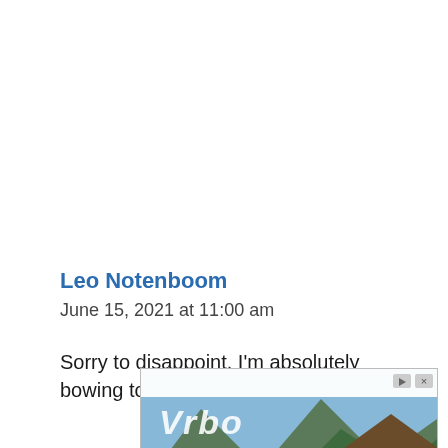Leo Notenboom
June 15, 2021 at 11:00 am
Sorry to disappoint. I'm absolutely bowing to common usage rather
[Figure (screenshot): Vrbo advertisement banner showing a mountain cabin rental with 'Mountain View' search bar and 'Book Now' button]